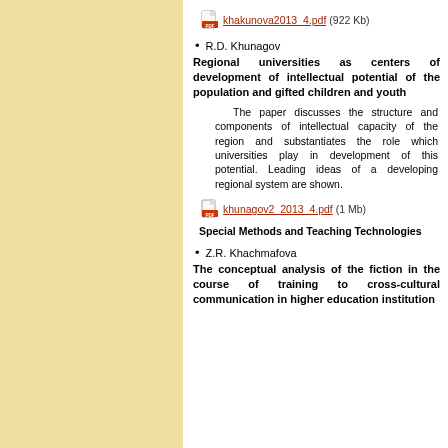[Figure (other): PDF file icon link: khakunova2013_4.pdf (922 Kb)]
R.D. Khunagov
Regional universities as centers of development of intellectual potential of the population and gifted children and youth
The paper discusses the structure and components of intellectual capacity of the region and substantiates the role which universities play in development of this potential. Leading ideas of a developing regional system are shown.
[Figure (other): PDF file icon link: khunagov2_2013_4.pdf (1 Mb)]
Special Methods and Teaching Technologies
Z.R. Khachmafova
The conceptual analysis of the fiction in the course of training to cross-cultural communication in higher education institution